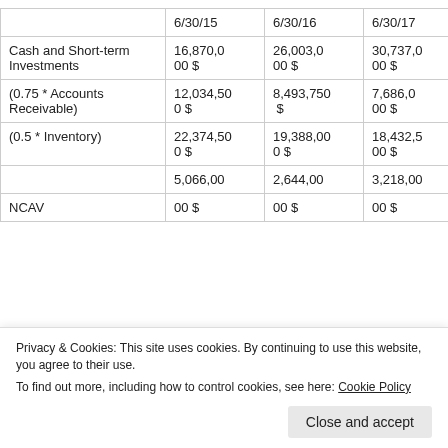|  | 6/30/15 | 6/30/16 | 6/30/17 |
| --- | --- | --- | --- |
| Cash and Short-term Investments | 16,870,000 $ | 26,003,000 $ | 30,737,000 $ |
| (0.75 * Accounts Receivable) | 12,034,500 $ | 8,493,750 $ | 7,686,000 $ |
| (0.5 * Inventory) | 22,374,500 $ | 19,388,000 $ | 18,432,500 $ |
|  | 5,066,000 | 2,644,000 | 3,218,000 |
| NCAV | 00 $ | 00 $ | 00 $ |
Privacy & Cookies: This site uses cookies. By continuing to use this website, you agree to their use.
To find out more, including how to control cookies, see here: Cookie Policy